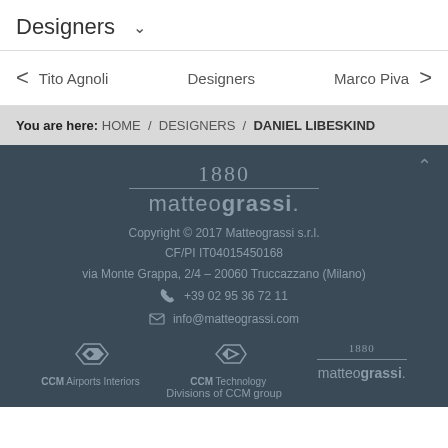Designers
< Tito Agnoli    Designers    Marco Piva >
You are here: HOME / DESIGNERS / DANIEL LIBESKIND
[Figure (logo): 1880 matteograssi. logo in grey on dark background]
Copyright © 2017 Matteograssi s.r.l.
CF/PI IT04015450168
via Monte Grappa, 2/4 – 20060 Truccazzano (Milano)
+39 02 95 36 72 11
info@matteograssi.com
[Figure (logo): CCM Airports Interiors logo with diamond icon]
[Figure (logo): CCM Technology logo with diamond icon]
[Figure (logo): 1880 matteograssi. small logo]
Divisions of CCM group